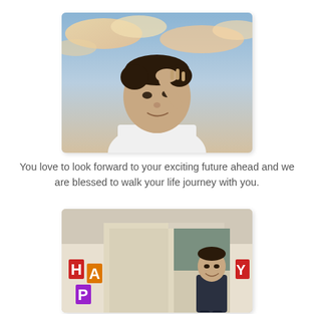[Figure (photo): A teenage boy shielding his eyes with his hand and looking upward against a sky with warm-toned clouds at sunset, wearing a white polo shirt.]
You love to look forward to your exciting future ahead and we are blessed to walk your life journey with you.
[Figure (photo): A teenage boy standing indoors near a doorway with colorful 'HAPPY' birthday banner letters hanging nearby, smiling.]